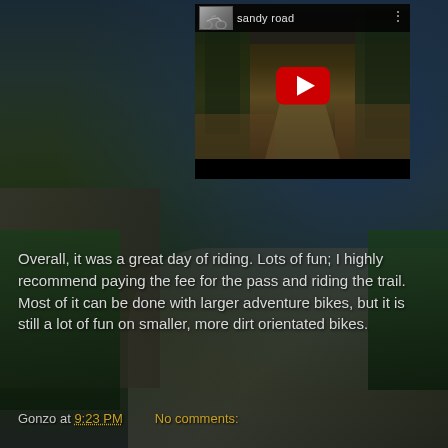[Figure (screenshot): YouTube video embed thumbnail showing a sandy dirt road through a forest with trees on both sides. The video header shows a motorcycle thumbnail image and the title 'sandy road'. A red YouTube play button is overlaid in the center.]
Overall, it was a great day of riding. Lots of fun; I highly recommend paying the fee for the pass and riding the trail. Most of it can be done with larger adventure bikes, but it is still a lot of fun on smaller, more dirt orientated bikes.
Gonzo at 9:23 PM    No comments: